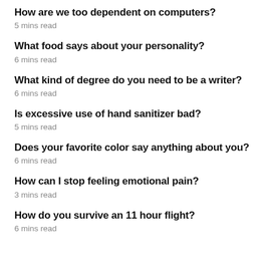How are we too dependent on computers?
5 mins read
What food says about your personality?
6 mins read
What kind of degree do you need to be a writer?
6 mins read
Is excessive use of hand sanitizer bad?
5 mins read
Does your favorite color say anything about you?
6 mins read
How can I stop feeling emotional pain?
3 mins read
How do you survive an 11 hour flight?
6 mins read